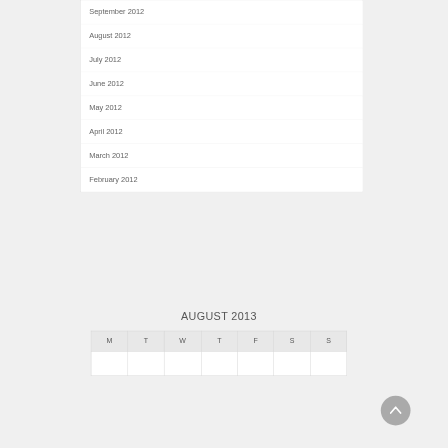September 2012
August 2012
July 2012
June 2012
May 2012
April 2012
March 2012
February 2012
AUGUST 2013
| M | T | W | T | F | S | S |
| --- | --- | --- | --- | --- | --- | --- |
|  |  |  |  |  |  |  |